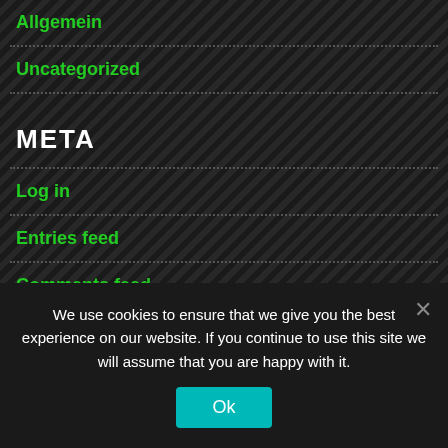Allgemein
Uncategorized
META
Log in
Entries feed
Comments feed
WordPress.org
We use cookies to ensure that we give you the best experience on our website. If you continue to use this site we will assume that you are happy with it.